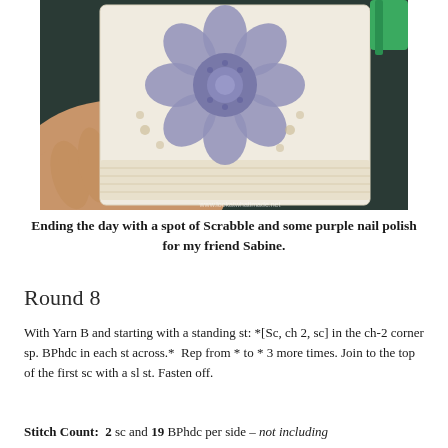[Figure (photo): A hand holding a crocheted granny square with a large grey/purple floral motif on a cream/white background, with a green object visible in the top right corner.]
Ending the day with a spot of Scrabble and some purple nail polish for my friend Sabine.
Round 8
With Yarn B and starting with a standing st: *[Sc, ch 2, sc] in the ch-2 corner sp. BPhdc in each st across.*  Rep from * to * 3 more times. Join to the top of the first sc with a sl st. Fasten off.
Stitch Count:  2 sc and 19 BPhdc per side – not including